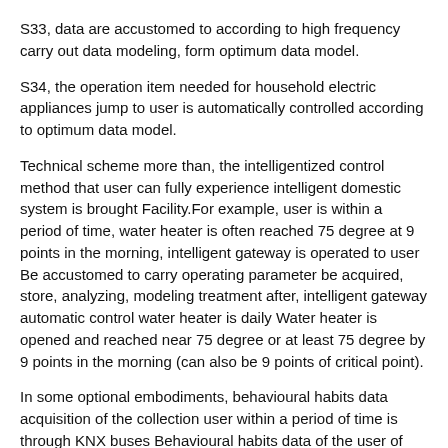S33, data are accustomed to according to high frequency carry out data modeling, form optimum data model.
S34, the operation item needed for household electric appliances jump to user is automatically controlled according to optimum data model.
Technical scheme more than, the intelligentized control method that user can fully experience intelligent domestic system is brought Facility.For example, user is within a period of time, water heater is often reached 75 degree at 9 points in the morning, intelligent gateway is operated to user Be accustomed to carry operating parameter be acquired, store, analyzing, modeling treatment after, intelligent gateway automatic control water heater is daily Water heater is opened and reached near 75 degree or at least 75 degree by 9 points in the morning (can also be 9 points of critical point).
In some optional embodiments, behavioural habits data acquisition of the collection user within a period of time is through KNX buses Behavioural habits data of the user of transmission within a period of time are specifically included: